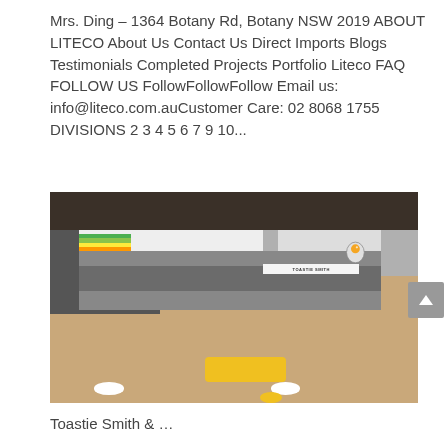Mrs. Ding – 1364 Botany Rd, Botany NSW 2019 ABOUT LITECO About Us Contact Us Direct Imports Blogs Testimonials Completed Projects Portfolio Liteco FAQ FOLLOW US FollowFollowFollow Email us: info@liteco.com.auCustomer Care: 02 8068 1755 DIVISIONS 2 3 4 5 6 7 9 10...
[Figure (photo): Interior photo of a modern food court stall called 'Toastie Smith' with yellow seating, white tiled walls, rainbow-colored menu display strips, a grey counter, and customers seated at small round tables in the foreground.]
Toastie Smith & …